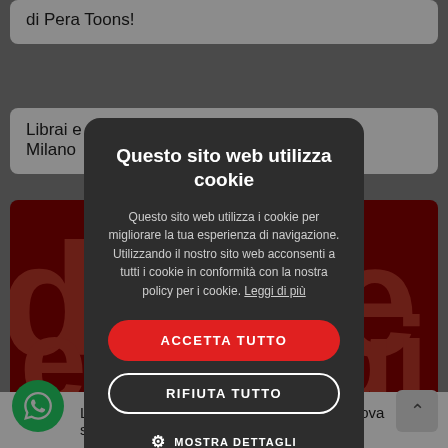[Figure (screenshot): Background webpage with gray overlay showing partial content: top card with text 'di Pera Toons!', middle card with partial text 'Librai e... e di Milano', a red banner card with large letters, and bottom bar showing 'Libreria dei Ragazzi compie 50 anni e rinnova suo nome' with a WhatsApp button]
Questo sito web utilizza cookie
Questo sito web utilizza i cookie per migliorare la tua esperienza di navigazione. Utilizzando il nostro sito web acconsenti a tutti i cookie in conformità con la nostra policy per i cookie. Leggi di più
ACCETTA TUTTO
RIFIUTA TUTTO
MOSTRA DETTAGLI